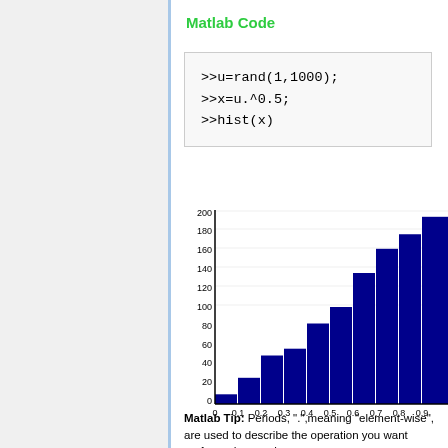Matlab Code
>>u=rand(1,1000);
>>x=u.^0.5;
>>hist(x)
[Figure (histogram): hist(x) output]
Matlab Tip: Periods, ".",meaning "element-wise", are used to describe the operation you want performed on each